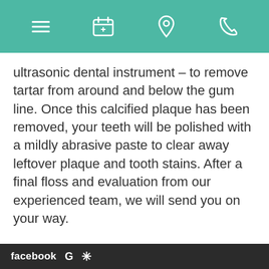[navigation icons: menu, appointment, location, phone]
ultrasonic dental instrument – to remove tartar from around and below the gum line. Once this calcified plaque has been removed, your teeth will be polished with a mildly abrasive paste to clear away leftover plaque and tooth stains. After a final floss and evaluation from our experienced team, we will send you on your way.
If you run your tongue along your tooth surfaces, you should be able to feel the clean, smooth surface of the enamel. When the surface is smooth, it is harder for plaque
facebook  G  *